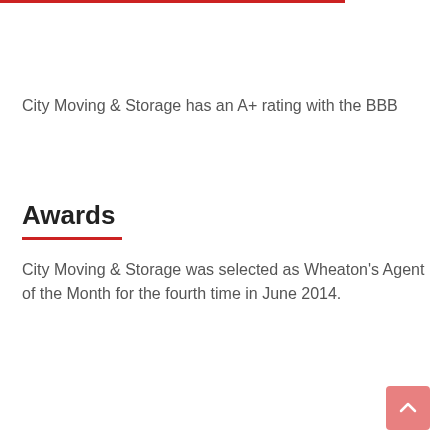City Moving & Storage has an A+ rating with the BBB
Awards
City Moving & Storage was selected as Wheaton's Agent of the Month for the fourth time in June 2014.